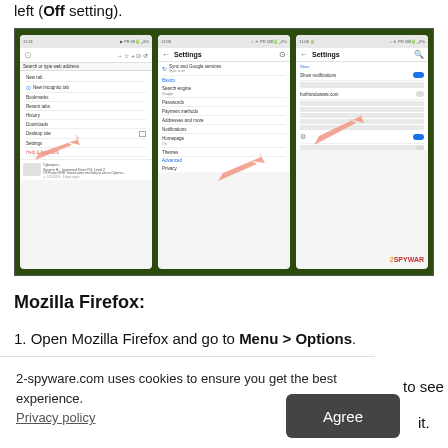left (Off setting).
[Figure (screenshot): Three Android phone screenshots showing Chrome browser settings: first shows Chrome menu with New tab, New Incognito tab, Bookmarks, Recent tabs, History, Downloads, Desktop site, Settings, Help & feedback, with an arrow pointing to Settings; second shows Chrome Settings page listing Sync and Google services, Basics, Search engine, Passwords, Payment methods, Addresses and more, Notifications, Homepage (On), Themes, Advanced, Privacy, with an arrow pointing to Notifications; third shows Settings page with Show notifications toggle on, and hotfrandoware.com listed, with arrow pointing to that entry. Watermark: 2SPYWAR.]
Mozilla Firefox:
1. Open Mozilla Firefox and go to Menu > Options.
2-spyware.com uses cookies to ensure you get the best experience.
Privacy policy
Agree